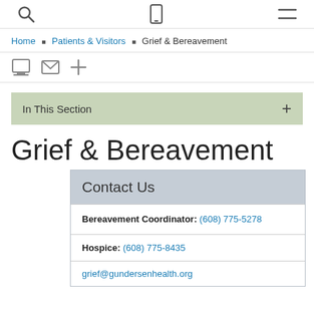Search | Phone | Menu icons
Home ▪ Patients & Visitors ▪ Grief & Bereavement
Print | Email | Increase text icons
In This Section +
Grief & Bereavement
| Contact Us |
| --- |
| Bereavement Coordinator: (608) 775-5278 |
| Hospice: (608) 775-8435 |
| grief@gundersenhealth.org |